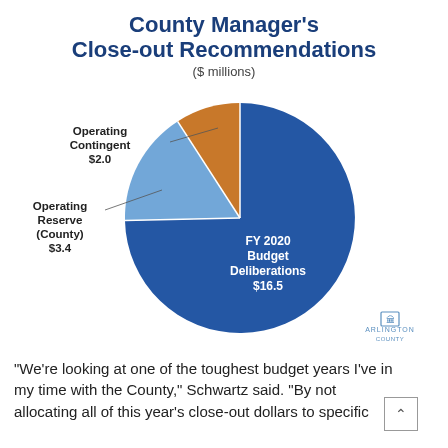County Manager's Close-out Recommendations
($ millions)
[Figure (pie-chart): County Manager's Close-out Recommendations ($ millions)]
"We're looking at one of the toughest budget years I've in my time with the County," Schwartz said. "By not allocating all of this year's close-out dollars to specific